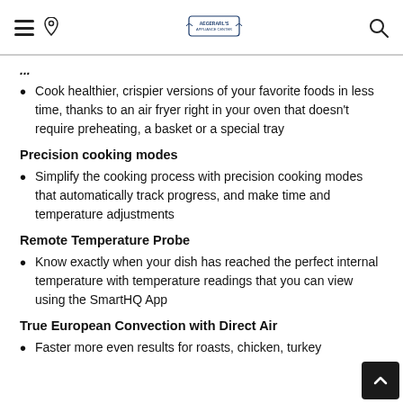[Header with hamburger menu, location pin, logo, and search icon]
Cook healthier, crispier versions of your favorite foods in less time, thanks to an air fryer right in your oven that doesn't require preheating, a basket or a special tray
Precision cooking modes
Simplify the cooking process with precision cooking modes that automatically track progress, and make time and temperature adjustments
Remote Temperature Probe
Know exactly when your dish has reached the perfect internal temperature with temperature readings that you can view using the SmartHQ App
True European Convection with Direct Air
Faster more even results for roasts, chicken, turkey